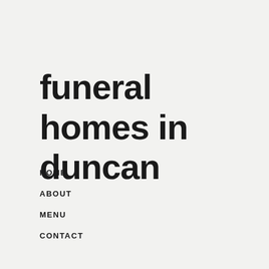funeral homes in duncan
HOME
ABOUT
MENU
CONTACT